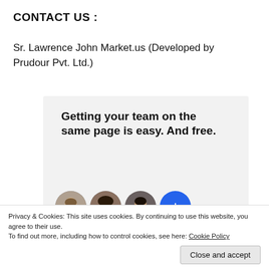CONTACT US :
Sr. Lawrence John Market.us (Developed by Prudour Pvt. Ltd.)
[Figure (screenshot): Advertisement screenshot showing 'Getting your team on the same page is easy. And free.' with three circular face avatars and a blue plus button, on a light grey background.]
Advertisements
Privacy & Cookies: This site uses cookies. By continuing to use this website, you agree to their use.
To find out more, including how to control cookies, see here: Cookie Policy
Close and accept